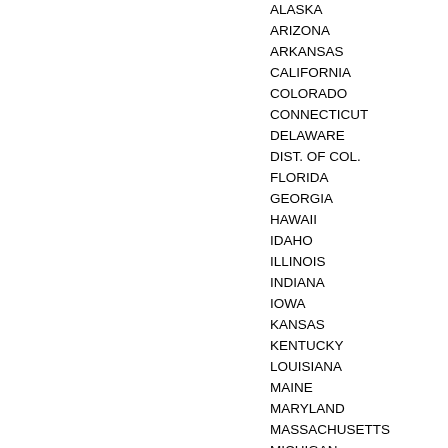ALASKA
ARIZONA
ARKANSAS
CALIFORNIA
COLORADO
CONNECTICUT
DELAWARE
DIST. OF COL.
FLORIDA
GEORGIA
HAWAII
IDAHO
ILLINOIS
INDIANA
IOWA
KANSAS
KENTUCKY
LOUISIANA
MAINE
MARYLAND
MASSACHUSETTS
MICHIGAN
MINNESOTA
MISSISSIPPI